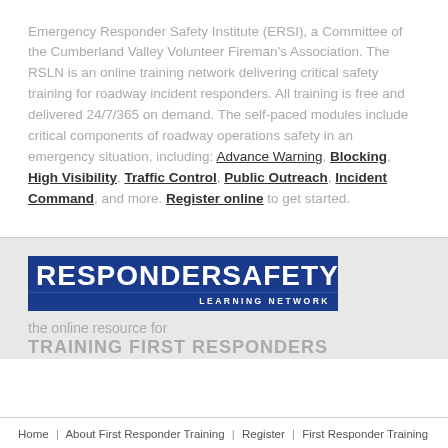Emergency Responder Safety Institute (ERSI), a Committee of the Cumberland Valley Volunteer Fireman's Association. The RSLN is an online training network delivering critical safety training for roadway incident responders. All training is free and delivered 24/7/365 on demand. The self-paced modules include critical components of roadway operations safety in an emergency situation, including: Advance Warning, Blocking, High Visibility, Traffic Control, Public Outreach, Incident Command, and more. Register online to get started.
[Figure (logo): Responder Safety Learning Network logo — dark blue rectangle with 'RESPONDERSAFETY' in large white bold uppercase letters and 'LEARNING NETWORK' in smaller white uppercase letters on a bar below]
the online resource for TRAINING FIRST RESPONDERS
Home | About First Responder Training | Register | First Responder Training